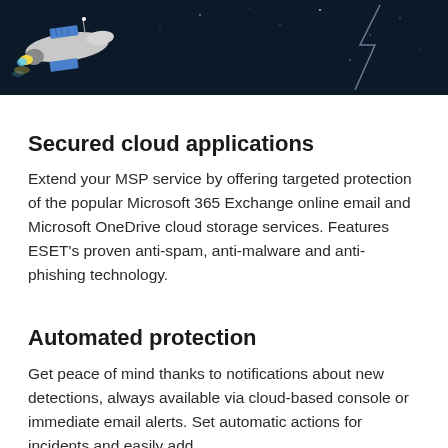[Figure (photo): Dark space-themed image with a spacecraft/satellite and lightning bolt on a dark blue background]
Secured cloud applications
Extend your MSP service by offering targeted protection of the popular Microsoft 365 Exchange online email and Microsoft OneDrive cloud storage services. Features ESET's proven anti-spam, anti-malware and anti-phishing technology.
Automated protection
Get peace of mind thanks to notifications about new detections, always available via cloud-based console or immediate email alerts. Set automatic actions for incidents and easily add